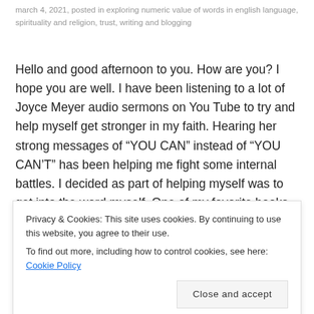march 4, 2021, posted in exploring numeric value of words in english language, spirituality and religion, trust, writing and blogging
Hello and good afternoon to you. How are you? I hope you are well. I have been listening to a lot of Joyce Meyer audio sermons on You Tube to try and help myself get stronger in my faith. Hearing her strong messages of “YOU CAN” instead of “YOU CAN’T” has been helping me fight some internal battles. I decided as part of helping myself was to get into the word myself. One of my favorite books is Matthew. In
Privacy & Cookies: This site uses cookies. By continuing to use this website, you agree to their use.
To find out more, including how to control cookies, see here: Cookie Policy
Close and accept
THE SHEEP AND THE GOATS